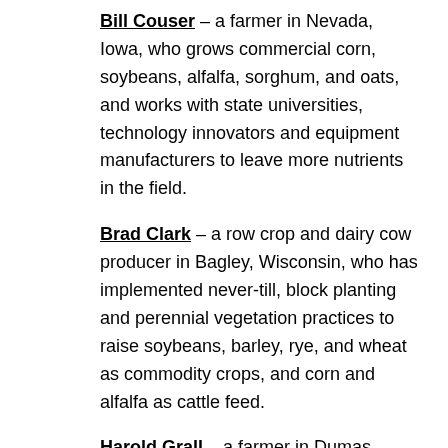Bill Couser – a farmer in Nevada, Iowa, who grows commercial corn, soybeans, alfalfa, sorghum, and oats, and works with state universities, technology innovators and equipment manufacturers to leave more nutrients in the field.
Brad Clark – a row crop and dairy cow producer in Bagley, Wisconsin, who has implemented never-till, block planting and perennial vegetation practices to raise soybeans, barley, rye, and wheat as commodity crops, and corn and alfalfa as cattle feed.
Harold Grall – a farmer in Dumas, Texas,